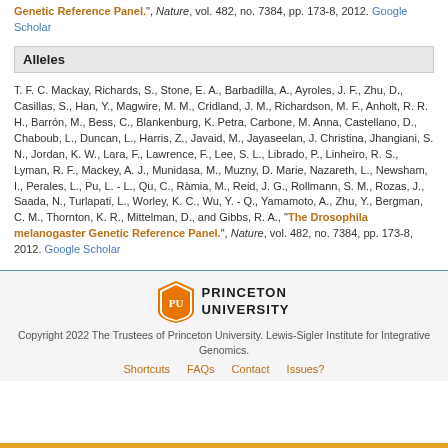Genetic Reference Panel.", Nature, vol. 482, no. 7384, pp. 173-8, 2012. Google Scholar
Alleles
T. F. C. Mackay, Richards, S., Stone, E. A., Barbadilla, A., Ayroles, J. F., Zhu, D., Casillas, S., Han, Y., Magwire, M. M., Cridland, J. M., Richardson, M. F., Anholt, R. R. H., Barrón, M., Bess, C., Blankenburg, K. Petra, Carbone, M. Anna, Castellano, D., Chaboub, L., Duncan, L., Harris, Z., Javaid, M., Jayaseelan, J. Christina, Jhangiani, S. N., Jordan, K. W., Lara, F., Lawrence, F., Lee, S. L., Librado, P., Linheiro, R. S., Lyman, R. F., Mackey, A. J., Munidasa, M., Muzny, D. Marie, Nazareth, L., Newsham, I., Perales, L., Pu, L. - L., Qu, C., Ràmia, M., Reid, J. G., Rollmann, S. M., Rozas, J., Saada, N., Turlapati, L., Worley, K. C., Wu, Y. - Q., Yamamoto, A., Zhu, Y., Bergman, C. M., Thornton, K. R., Mittelman, D., and Gibbs, R. A., "The Drosophila melanogaster Genetic Reference Panel.", Nature, vol. 482, no. 7384, pp. 173-8, 2012. Google Scholar
Copyright 2022 The Trustees of Princeton University. Lewis-Sigler Institute for Integrative Genomics. Shortcuts FAQs Contact Issues?